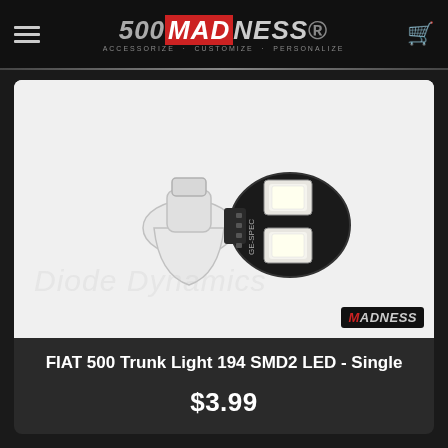500 MADNESS — ACCESSORIZE · CUSTOMIZE · PERSONALIZE
[Figure (photo): Close-up photo of a T10/194 SMD2 LED bulb with white plastic base and two bright white SMD LEDs on a black circuit board, labeled GE-SPEC. Watermark reads 'Diode Dynamics'. MADNESS badge in lower right.]
FIAT 500 Trunk Light 194 SMD2 LED - Single
$3.99